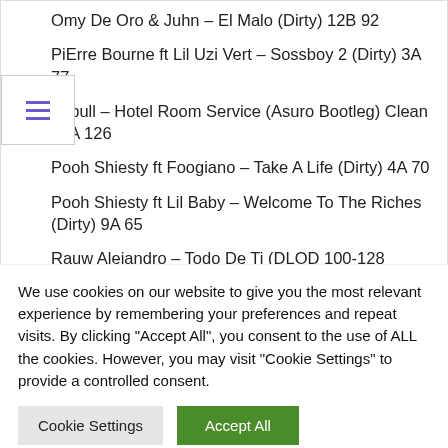Omy De Oro & Juhn – El Malo (Dirty) 12B 92
PiErre Bourne ft Lil Uzi Vert – Sossboy 2 (Dirty) 3A 77
Pitbull – Hotel Room Service (Asuro Bootleg) Clean 10A 126
Pooh Shiesty ft Foogiano – Take A Life (Dirty) 4A 70
Pooh Shiesty ft Lil Baby – Welcome To The Riches (Dirty) 9A 65
Rauw Alejandro – Todo De Ti (DLOD 100-128
We use cookies on our website to give you the most relevant experience by remembering your preferences and repeat visits. By clicking "Accept All", you consent to the use of ALL the cookies. However, you may visit "Cookie Settings" to provide a controlled consent.
Cookie Settings | Accept All